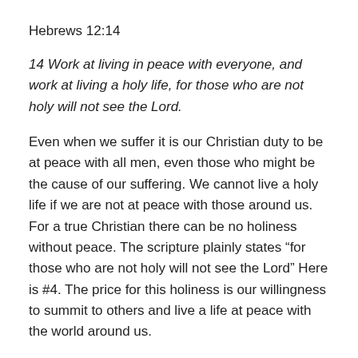Hebrews 12:14
14 Work at living in peace with everyone, and work at living a holy life, for those who are not holy will not see the Lord.
Even when we suffer it is our Christian duty to be at peace with all men, even those who might be the cause of our suffering. We cannot live a holy life if we are not at peace with those around us. For a true Christian there can be no holiness without peace. The scripture plainly states “for those who are not holy will not see the Lord” Here is #4. The price for this holiness is our willingness to summit to others and live a life at peace with the world around us.
13 But the one who endures to the end will be saved.
The best comment to Matthew24:13 would be the two